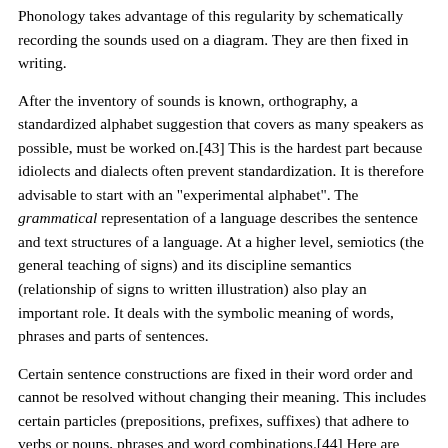Phonology takes advantage of this regularity by schematically recording the sounds used on a diagram. They are then fixed in writing.
After the inventory of sounds is known, orthography, a standardized alphabet suggestion that covers as many speakers as possible, must be worked on.[43] This is the hardest part because idiolects and dialects often prevent standardization. It is therefore advisable to start with an "experimental alphabet". The grammatical representation of a language describes the sentence and text structures of a language. At a higher level, semiotics (the general teaching of signs) and its discipline semantics (relationship of signs to written illustration) also play an important role. It deals with the symbolic meaning of words, phrases and parts of sentences.
Certain sentence constructions are fixed in their word order and cannot be resolved without changing their meaning. This includes certain particles (prepositions, prefixes, suffixes) that adhere to verbs or nouns, phrases and word combinations.[44] Here are some examples out of German: "Himmel und Hölle" [Engl. Heaven